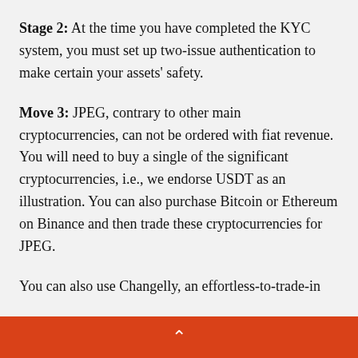Stage 2: At the time you have completed the KYC system, you must set up two-issue authentication to make certain your assets' safety.
Move 3: JPEG, contrary to other main cryptocurrencies, can not be ordered with fiat revenue. You will need to buy a single of the significant cryptocurrencies, i.e., we endorse USDT as an illustration. You can also purchase Bitcoin or Ethereum on Binance and then trade these cryptocurrencies for JPEG.
You can also use Changelly, an effortless-to-trade-in
^